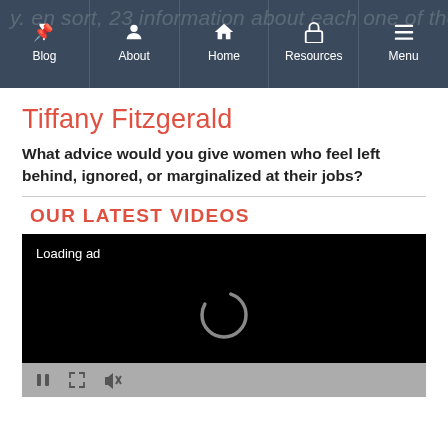Blog | About | Home | Resources | Menu
Tiffany Fitzgerald
What advice would you give women who feel left behind, ignored, or marginalized at their jobs?
OUR LATEST VIDEOS
[Figure (screenshot): Video player showing a black screen with 'Loading ad' text and a spinning loading indicator, with video controls (pause, expand, mute) at the bottom on a gray bar.]